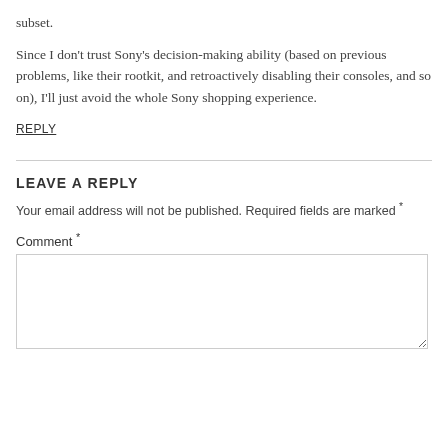subset.
Since I don't trust Sony's decision-making ability (based on previous problems, like their rootkit, and retroactively disabling their consoles, and so on), I'll just avoid the whole Sony shopping experience.
REPLY
LEAVE A REPLY
Your email address will not be published. Required fields are marked *
Comment *